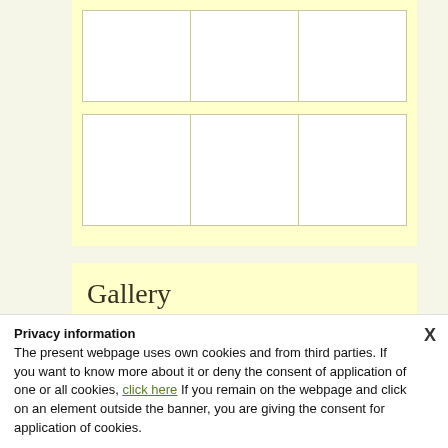[Figure (other): Gallery grid showing two rows of three empty white cells each on a light yellow background]
Gallery
...more
Privacy information
The present webpage uses own cookies and from third parties. If you want to know more about it or deny the consent of application of one or all cookies, click here If you remain on the webpage and click on an element outside the banner, you are giving the consent for application of cookies.